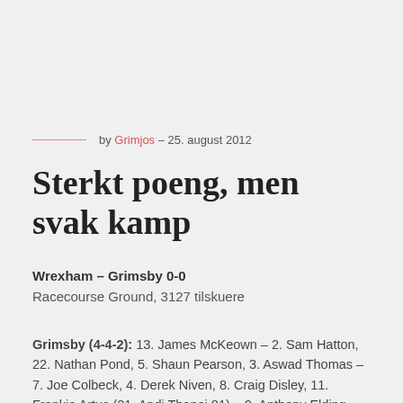by Grimjos – 25. august 2012
Sterkt poeng, men svak kamp
Wrexham – Grimsby 0-0
Racecourse Ground, 3127 tilskuere
Grimsby (4-4-2): 13. James McKeown – 2. Sam Hatton, 22. Nathan Pond, 5. Shaun Pearson, 3. Aswad Thomas – 7. Joe Colbeck, 4. Derek Niven, 8. Craig Disley, 11. Frankie Artus (21. Andi Thanoj 81) – 9. Anthony Elding (20. Dayle Southwell 89), 18. Greg Pearson (12. Andy Cook 60). Innbyttere: 16. Simon Ford, 19. Bradley Wood.